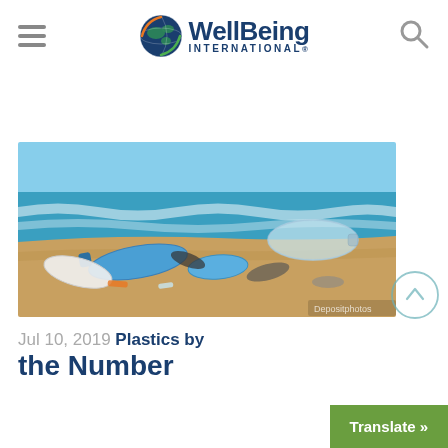WellBeing International
[Figure (photo): Plastic bottles and debris scattered on a sandy beach with ocean waves in the background]
Jul 10, 2019 Plastics by the Number